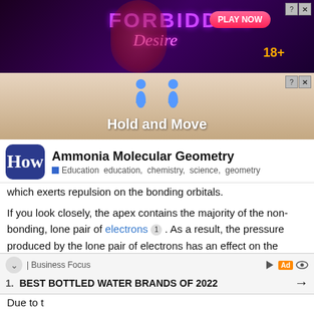[Figure (screenshot): Advertisement banner for 'Forbidden Desire' game with purple/dark background, 'PLAY NOW' button, 18+ label]
[Figure (screenshot): Second advertisement banner 'Hold and Move' with beige/skin-tone background and cartoon figures]
Ammonia Molecular Geometry
Education  education, chemistry, science, geometry
which exerts repulsion on the bonding orbitals.
If you look closely, the apex contains the majority of the non-bonding, lone pair of electrons 1 . As a result, the pressure produced by the lone pair of electrons has an effect on the nitrogen-hydrogen atom (N-H) bond on the other side. It reduces the bond angle to 107° from 109.5°.
[Figure (screenshot): Bottom advertisement bar: Business Focus | Ad label, showing 'BEST BOTTLED WATER BRANDS OF 2022' with arrow]
Due to t